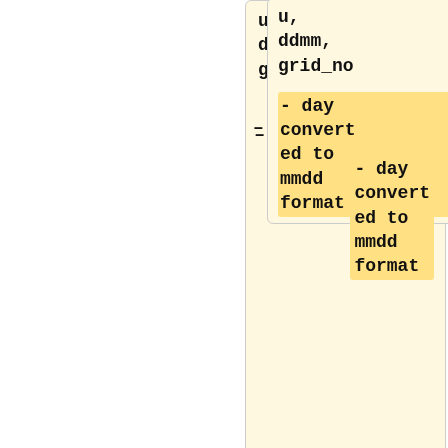u, ddmm, grid_no
- day converted to mmdd format
</pre>
-
-
'{{Object|LONG_TERM_AVERAGE_NUTS